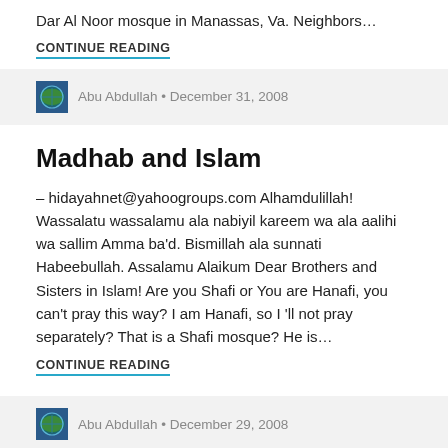Dar Al Noor mosque in Manassas, Va. Neighbors…
CONTINUE READING
Abu Abdullah • December 31, 2008
Madhab and Islam
– hidayahnet@yahoogroups.com Alhamdulillah! Wassalatu wassalamu ala nabiyil kareem wa ala aalihi wa sallim Amma ba'd. Bismillah ala sunnati Habeebullah. Assalamu Alaikum Dear Brothers and Sisters in Islam! Are you Shafi or You are Hanafi, you can't pray this way? I am Hanafi, so I 'll not pray separately? That is a Shafi mosque? He is…
CONTINUE READING
Abu Abdullah • December 29, 2008